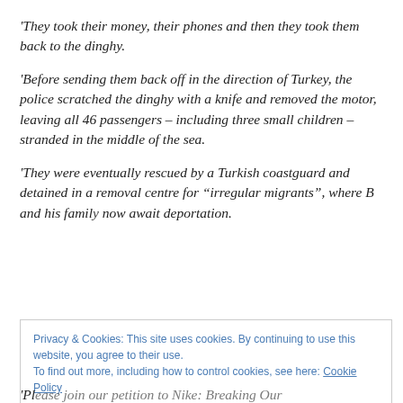'They took their money, their phones and then they took them back to the dinghy.
'Before sending them back off in the direction of Turkey, the police scratched the dinghy with a knife and removed the motor, leaving all 46 passengers – including three small children – stranded in the middle of the sea.
'They were eventually rescued by a Turkish coastguard and detained in a removal centre for “irregular migrants”, where B and his family now await deportation.
Privacy & Cookies: This site uses cookies. By continuing to use this website, you agree to their use.
To find out more, including how to control cookies, see here: Cookie Policy
'Pl... competition to Nike B... O...